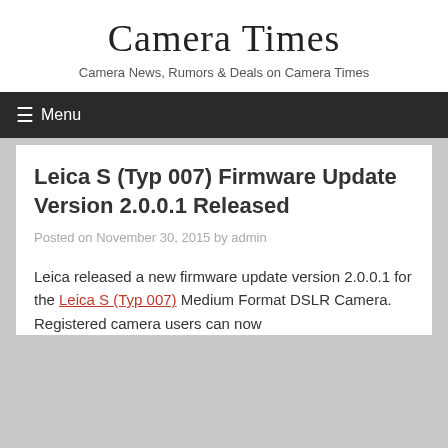Camera Times
Camera News, Rumors & Deals on Camera Times
≡ Menu
Leica S (Typ 007) Firmware Update Version 2.0.0.1 Released
Posted on November 30, 2015 by admin
Leica released a new firmware update version 2.0.0.1 for the Leica S (Typ 007) Medium Format DSLR Camera. Registered camera users can now